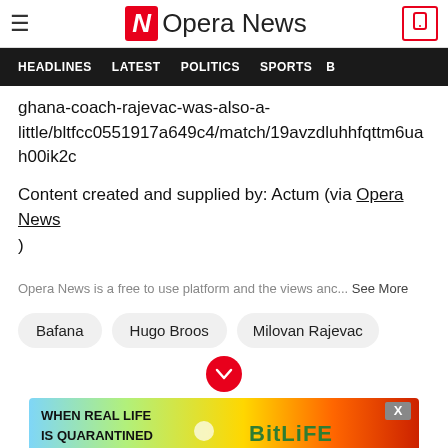Opera News
HEADLINES   LATEST   POLITICS   SPORTS
ghana-coach-rajevac-was-also-a-little/bltfcc0551917a649c4/match/19avzdluhhfqttm6uah00ik2c
Content created and supplied by: Actum (via Opera News )
Opera News is a free to use platform and the views anc... See More
Bafana
Hugo Broos
Milovan Rajevac
[Figure (photo): BitLife advertisement banner with colorful rainbow background, text 'WHEN REAL LIFE IS QUARANTINED' and BitLife branding]